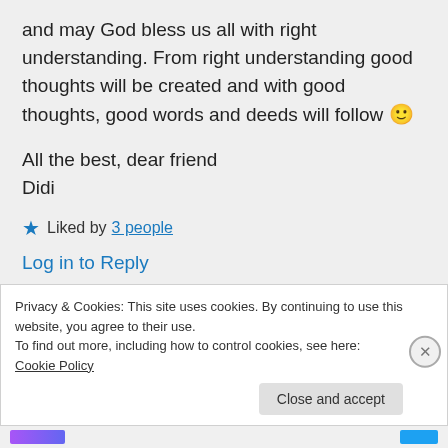and may God bless us all with right understanding. From right understanding good thoughts will be created and with good thoughts, good words and deeds will follow 🙂
All the best, dear friend
Didi
★ Liked by 3 people
Log in to Reply
Privacy & Cookies: This site uses cookies. By continuing to use this website, you agree to their use.
To find out more, including how to control cookies, see here: Cookie Policy